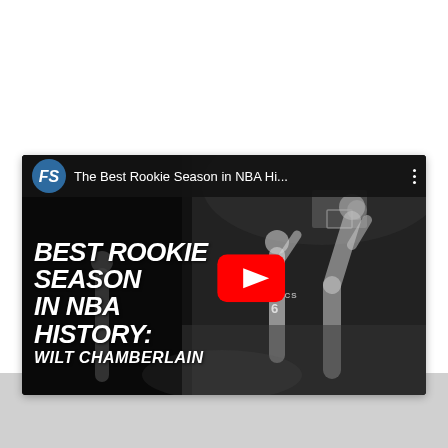[Figure (screenshot): YouTube video thumbnail/embed for 'The Best Rookie Season in NBA Hi...' featuring a black and white photo of basketball players (Wilt Chamberlain era), with text overlay reading 'BEST ROOKIE SEASON IN NBA HISTORY: WILT CHAMBERLAIN', a YouTube play button, and an FS channel logo in the top-left corner.]